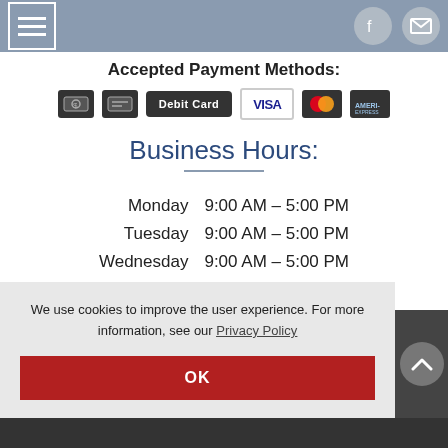Navigation bar with hamburger menu and social/mail icons
Accepted Payment Methods:
[Figure (infographic): Payment method icons: cash, check/invoice, Debit Card button, VISA, Mastercard, American Express]
Business Hours:
| Day | Hours |
| --- | --- |
| Monday | 9:00 AM – 5:00 PM |
| Tuesday | 9:00 AM – 5:00 PM |
| Wednesday | 9:00 AM – 5:00 PM |
| Thursday | 9:00 AM – 5:00 PM |
We use cookies to improve the user experience. For more information, see our Privacy Policy
OK